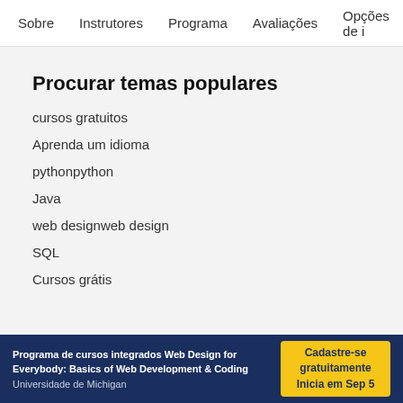Sobre   Instrutores   Programa   Avaliações   Opções de i
Procurar temas populares
cursos gratuitos
Aprenda um idioma
pythonpython
Java
web designweb design
SQL
Cursos grátis
Programa de cursos integrados Web Design for Everybody: Basics of Web Development & Coding
Universidade de Michigan
Cadastre-se gratuitamente Inicia em Sep 5